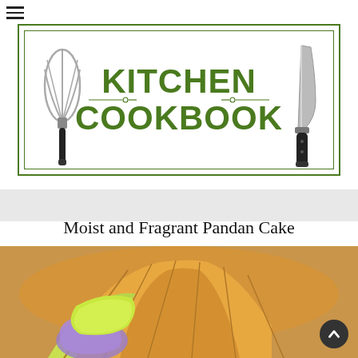[Figure (logo): Kitchen Cookbook logo with whisk on the left, chef's knife on the right, decorative horizontal lines, green double border rectangle, bold green text reading KITCHEN COOKBOOK]
Moist and Fragrant Pandan Cake
[Figure (photo): Close-up photo of a sliced pandan chiffon cake being pulled apart, showing bright yellow-green interior and golden-brown exterior, on a wooden surface]